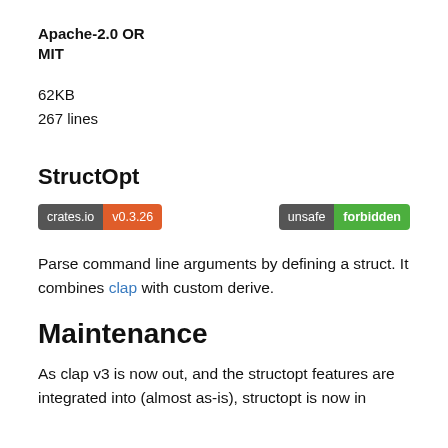Apache-2.0 OR
MIT
62KB
267 lines
StructOpt
[Figure (infographic): Two badges: 'crates.io v0.3.26' (gray + orange) and 'unsafe forbidden' (gray + green)]
Parse command line arguments by defining a struct. It combines clap with custom derive.
Maintenance
As clap v3 is now out, and the structopt features are integrated into (almost as-is), structopt is now in